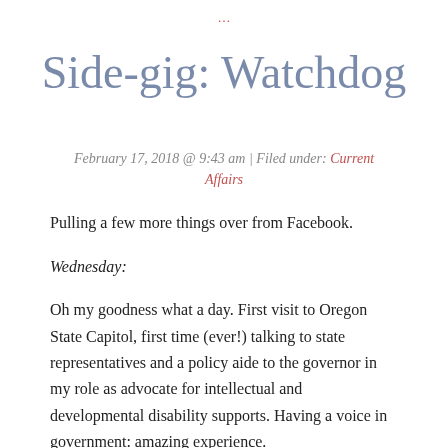…
Side-gig: Watchdog
February 17, 2018 @ 9:43 am | Filed under: Current Affairs
Pulling a few more things over from Facebook.
Wednesday:
Oh my goodness what a day. First visit to Oregon State Capitol, first time (ever!) talking to state representatives and a policy aide to the governor in my role as advocate for intellectual and developmental disability supports. Having a voice in government: amazing experience.
Friday: